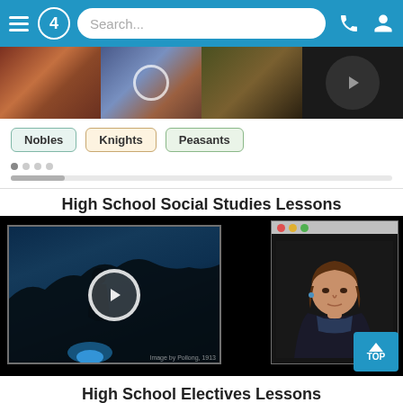[Figure (screenshot): Mobile app navigation bar with hamburger menu, '4' logo, search bar, phone and user icons on blue background]
[Figure (screenshot): Row of thumbnail images (medieval paintings: nobles, knights, peasants, instructor) with labeled buttons: Nobles, Knights, Peasants; navigation dots below]
High School Social Studies Lessons
[Figure (screenshot): Video player showing a dark painting with silhouette and blue glow on left, instructor (woman) on right panel, play button overlay in center, TOP navigation button bottom right]
High School Electives Lessons